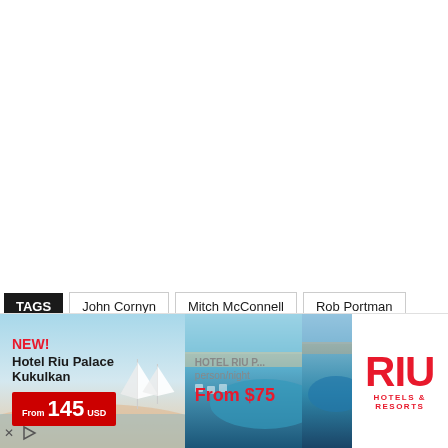TAGS  John Cornyn  Mitch McConnell  Rob Portman  Susan Collins ▾
[Figure (screenshot): Advertisement banner for RIU Hotels & Resorts. Left section shows Hotel Riu Palace Kukulkan with 'NEW!' in red, price 'From 145 USD' in a red box on a beach/resort background. Middle section shows another RIU hotel property from above with 'HOTEL RIU P...' and 'person/night' in gray, 'From $75' in red. Right sections show pool/beach images and the RIU Hotels & Resorts logo in red on white background.]